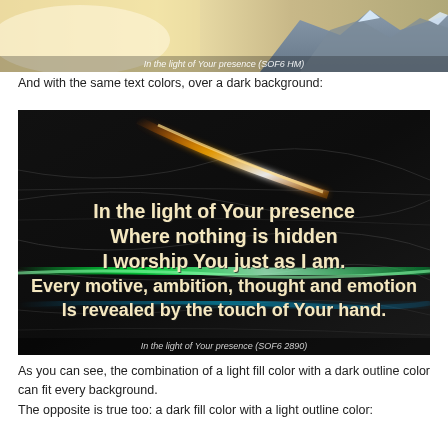[Figure (photo): Mountain landscape with golden light and snow-capped peaks; caption reads 'In the light of Your presence (SOF6 HM)']
And with the same text colors, over a dark background:
[Figure (screenshot): Dark abstract background with glowing light streaks (orange, green, blue) and white bold text reading: 'In the light of Your presence / Where nothing is hidden / I worship You just as I am. / Every motive, ambition, thought and emotion / Is revealed by the touch of Your hand.' Caption at bottom: 'In the light of Your presence (SOF6 2890)']
As you can see, the combination of a light fill color with a dark outline color can fit every background.
The opposite is true too: a dark fill color with a light outline color: